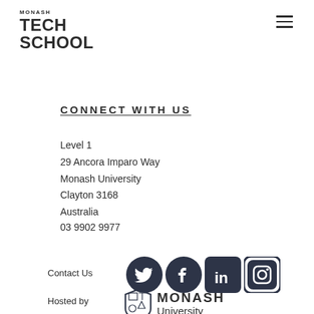MONASH TECH SCHOOL
CONNECT WITH US
Level 1
29 Ancora Imparo Way
Monash University
Clayton 3168
Australia
03 9902 9977
Contact Us
[Figure (logo): Social media icons: Twitter, Facebook, LinkedIn, Instagram]
Hosted by
[Figure (logo): Monash University shield logo with text MONASH University]